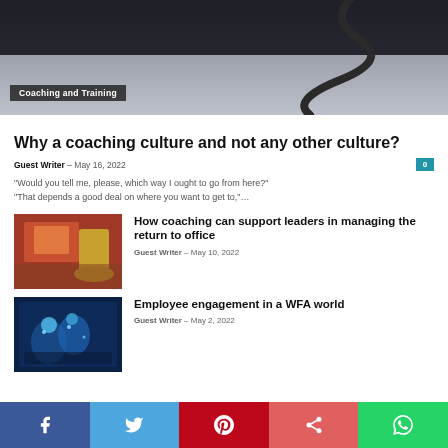[Figure (photo): Hero image showing a winding road/path drawn on paper, dark background at top fading to lighter area]
Coaching and Training
Why a coaching culture and not any other culture?
Guest Writer - May 16, 2022
“Would you tell me, please, which way I ought to go from here?” “That depends a good deal on where you want to get to,”…
[Figure (photo): Thumbnail image showing a coffee cup and blurred background with colorful elements]
How coaching can support leaders in managing the return to office
Guest Writer - May 10, 2022
[Figure (photo): Thumbnail image showing a digital/tech themed image with glowing blue figures]
Employee engagement in a WFA world
Guest Writer - May 2, 2022